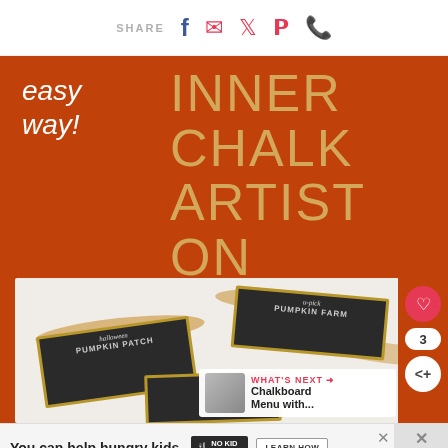SHARE (Facebook, Email, Twitter, Pinterest, WhatsApp icons)
easy way! INNER CHALK ARTIST ON
[Figure (photo): Photo of three chalkboard signs with pumpkin patch and pumpkin farm text, placed on white paper with gold/tan brush stroke paint marks, on a craft project table]
WHAT'S NEXT → Chalkboard Menu with...
You can help hungry kids. NO KID HUNGRY LEARN HOW